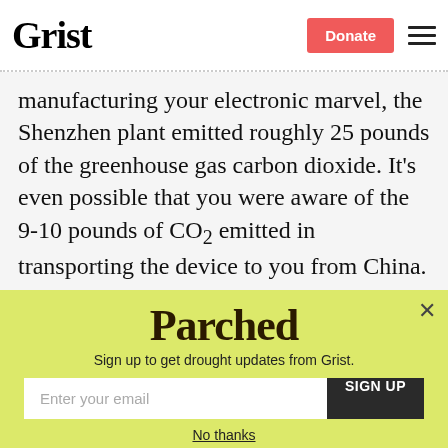Grist | Donate
manufacturing your electronic marvel, the Shenzhen plant emitted roughly 25 pounds of the greenhouse gas carbon dioxide. It's even possible that you were aware of the 9-10 pounds of CO2 emitted in transporting the device to you from China. (See Apple's environmental report for the iPod classic
[Figure (other): Parched newsletter signup popup with yellow-green background. Contains 'Parched' logo text, subtitle 'Sign up to get drought updates from Grist.', an email input field, a SIGN UP button, and a 'No thanks' link. A close (×) button appears in the top right.]